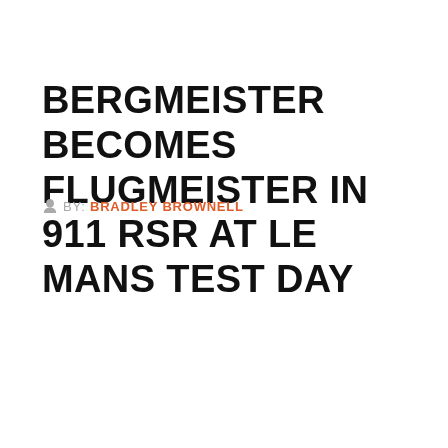BERGMEISTER BECOMES FLUGMEISTER IN 911 RSR AT LE MANS TEST DAY
BY: BRADLEY BROWNELL